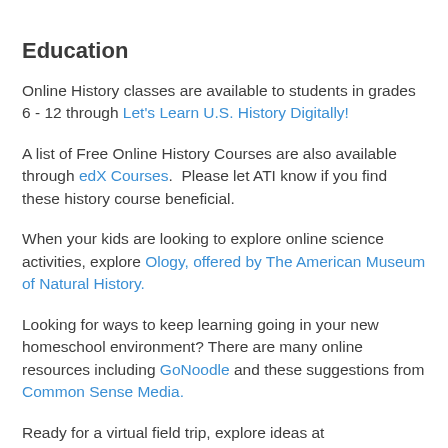Education
Online History classes are available to students in grades 6 - 12 through Let's Learn U.S. History Digitally!
A list of Free Online History Courses are also available through edX Courses.  Please let ATI know if you find these history course beneficial.
When your kids are looking to explore online science activities, explore Ology, offered by The American Museum of Natural History.
Looking for ways to keep learning going in your new homeschool environment? There are many online resources including GoNoodle and these suggestions from Common Sense Media.
Ready for a virtual field trip, explore ideas at